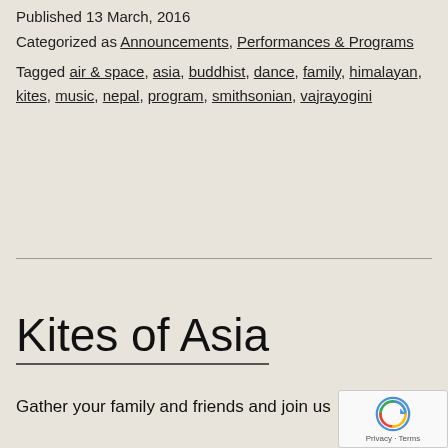Published 13 March, 2016
Categorized as Announcements, Performances & Programs
Tagged air & space, asia, buddhist, dance, family, himalayan, kites, music, nepal, program, smithsonian, vajrayogini
Kites of Asia
Gather your family and friends and join us